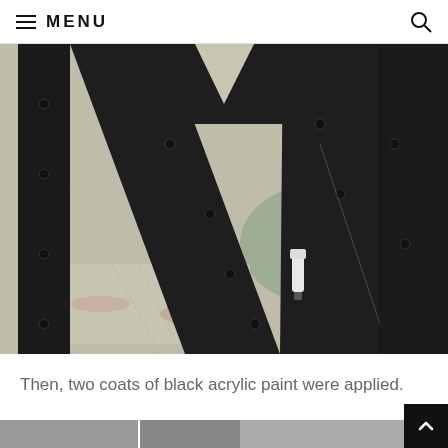MENU
[Figure (photo): Close-up photo of large black painted wooden letter M or W pieces lying on a paint-splattered drop cloth. The wooden pieces have small black screws/bolts visible. A small white spray paint cap is visible. The wood is painted matte black.]
Then, two coats of black acrylic paint were applied.